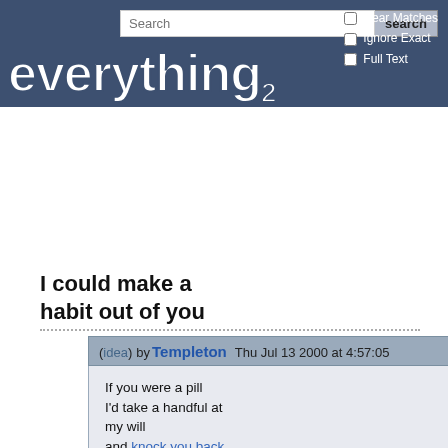everything2 website header with search bar, Near Matches, Ignore Exact, Full Text checkboxes, and everything2 logo
I could make a habit out of you
(idea) by Templeton Thu Jul 13 2000 at 4:57:05
If you were a pill
I'd take a handful at my will
and knock you back
with something sweet and strong
from the song Valentine by The Replacements

I am hooked on you.
Stuck on your words.
Staring at your face.